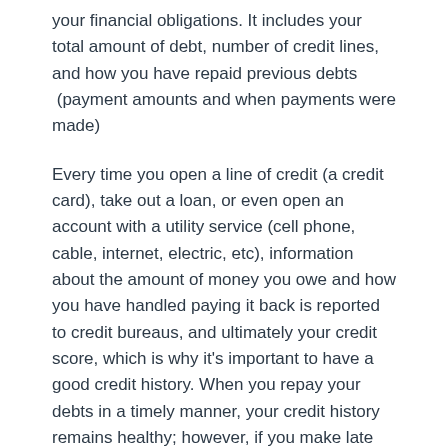your financial obligations. It includes your total amount of debt, number of credit lines, and how you have repaid previous debts  (payment amounts and when payments were made)
Every time you open a line of credit (a credit card), take out a loan, or even open an account with a utility service (cell phone, cable, internet, electric, etc), information about the amount of money you owe and how you have handled paying it back is reported to credit bureaus, and ultimately your credit score, which is why it's important to have a good credit history. When you repay your debts in a timely manner, your credit history remains healthy; however, if you make late payments or miss payments, have a suspended account, or carry a large amount of debt, your credit history becomes unhealthy.
Credit score explained